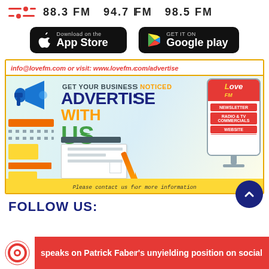88.3 FM   94.7 FM   98.5 FM
[Figure (infographic): App Store and Google Play download buttons on black rounded rectangles]
[Figure (infographic): Advertise with Love FM banner: info@lovefm.com or visit: www.lovefm.com/advertise. GET YOUR BUSINESS NOTICED ADVERTISE WITH US. Shows newsletter, radio & TV commercials, website options. Please contact us for more information.]
FOLLOW US:
[Figure (infographic): Red ticker bar with Love FM logo and scrolling text: speaks on Patrick Faber's unyielding position on social]